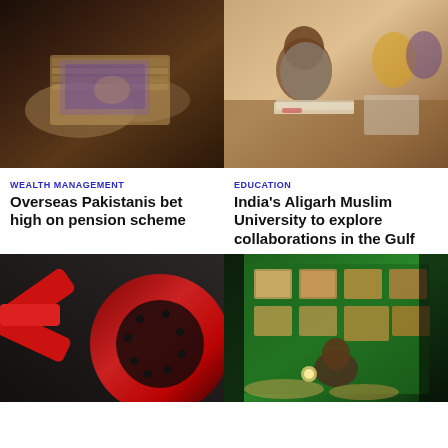[Figure (photo): Hands holding a bundle of Pakistani rupee banknotes]
[Figure (photo): Students studying at desks in a classroom, one in foreground looking at books]
WEALTH MANAGEMENT
Overseas Pakistanis bet high on pension scheme
EDUCATION
India's Aligarh Muslim University to explore collaborations in the Gulf
[Figure (photo): Close-up of red and black car brake disc and caliper]
[Figure (photo): Night market stall with green backdrop, man sitting among religious pictures and goods on display]